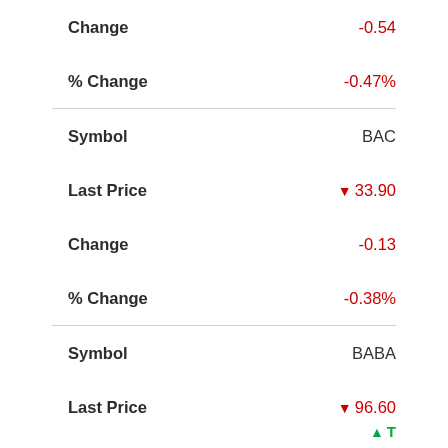| Field | Value |
| --- | --- |
| Change | -0.54 |
| % Change | -0.47% |
| Symbol | BAC |
| Last Price | ▼ 33.90 |
| Change | -0.13 |
| % Change | -0.38% |
| Symbol | BABA |
| Last Price | ▼ 96.60 |
| Change | -1.40 |